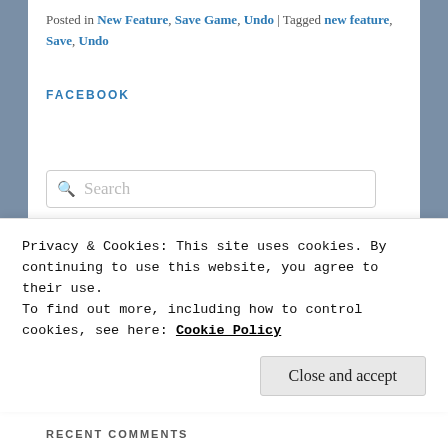Posted in New Feature, Save Game, Undo | Tagged new feature, Save, Undo
FACEBOOK
Search
RECENT POSTS
The Icemark was indeed a changed place
The Wise are not the only guardians of knowledge
Privacy & Cookies: This site uses cookies. By continuing to use this website, you agree to their use.
To find out more, including how to control cookies, see here: Cookie Policy
Close and accept
RECENT COMMENTS